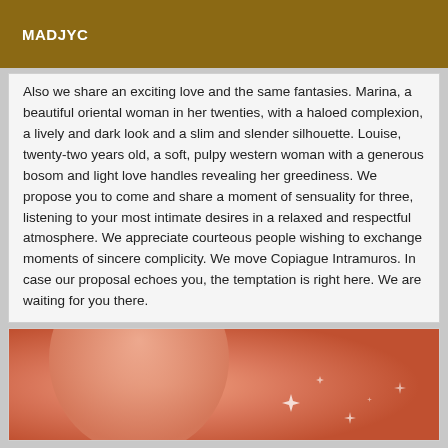MADJYC
Also we share an exciting love and the same fantasies. Marina, a beautiful oriental woman in her twenties, with a haloed complexion, a lively and dark look and a slim and slender silhouette. Louise, twenty-two years old, a soft, pulpy western woman with a generous bosom and light love handles revealing her greediness. We propose you to come and share a moment of sensuality for three, listening to your most intimate desires in a relaxed and respectful atmosphere. We appreciate courteous people wishing to exchange moments of sincere complicity. We move Copiague Intramuros. In case our proposal echoes you, the temptation is right here. We are waiting for you there.
[Figure (photo): Partial view of a figure with warm orange/salmon tones and decorative sparkle/light effects on a gradient background]